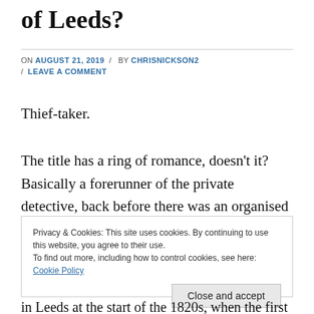of Leeds?
ON AUGUST 21, 2019 / BY CHRISNICKSON2 / LEAVE A COMMENT
Thief-taker.
The title has a ring of romance, doesn’t it? Basically a forerunner of the private detective, back before there was an organised police force, other than the Bow Street
Privacy & Cookies: This site uses cookies. By continuing to use this website, you agree to their use.
To find out more, including how to control cookies, see here: Cookie Policy
Close and accept
in Leeds at the start of the 1820s, when the first